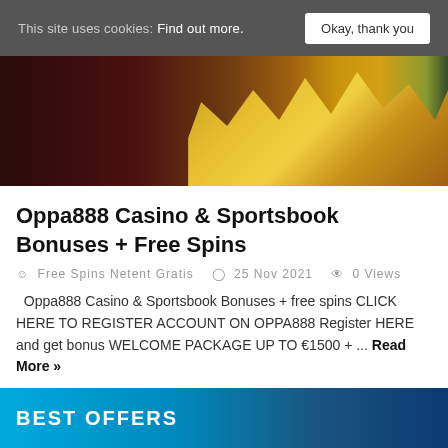This site uses cookies: Find out more.  Okay, thank you
[Figure (photo): Casino banner image showing gold coin stacks against dark background with a figure in the background]
Oppa888 Casino & Sportsbook Bonuses + Free Spins
Free Spins Netent Gratis  25 Nov 2021  0 Views
Oppa888 Casino & Sportsbook Bonuses + free spins CLICK HERE TO REGISTER ACCOUNT ON OPPA888 Register HERE and get bonus WELCOME PACKAGE UP TO €1500 + ... Read More »
BEST OFFERS